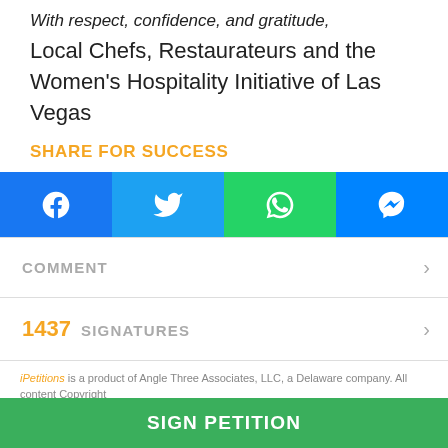With respect, confidence, and gratitude,
Local Chefs, Restaurateurs and the Women's Hospitality Initiative of Las Vegas
SHARE FOR SUCCESS
[Figure (other): Social sharing buttons: Facebook (blue), Twitter (light blue), WhatsApp (green), Messenger (blue)]
COMMENT
1437 SIGNATURES
iPetitions is a product of Angle Three Associates, LLC, a Delaware company. All content Copyright
SIGN PETITION